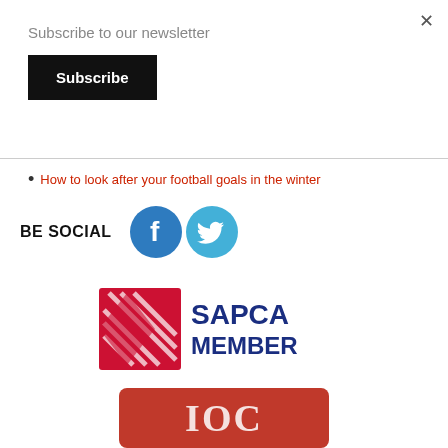×
Subscribe to our newsletter
Subscribe
How to look after your football goals in the winter
BE SOCIAL
[Figure (logo): Facebook and Twitter social media icons]
[Figure (logo): SAPCA Member logo - red diamond shape with diagonal stripes and blue SAPCA MEMBER text]
[Figure (logo): IOC logo - red rounded rectangle with white IOC text partially visible]